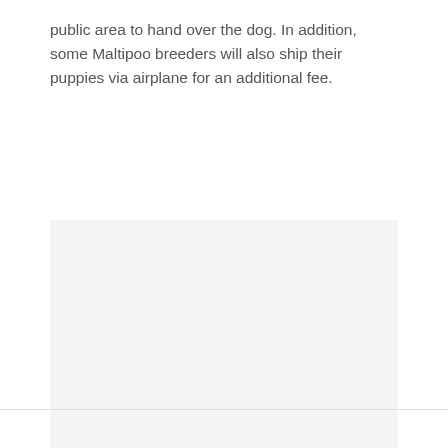public area to hand over the dog. In addition, some Maltipoo breeders will also ship their puppies via airplane for an additional fee.
[Figure (photo): A large light gray rectangular placeholder image area occupying the lower portion of the page.]